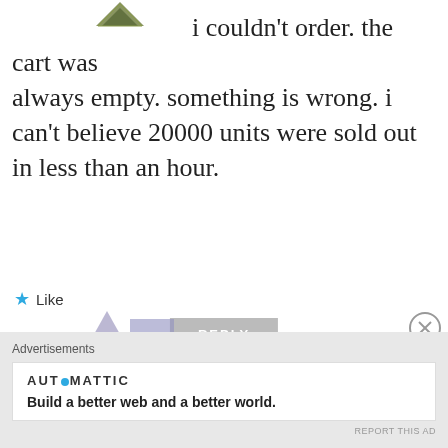[Figure (illustration): Partial avatar/logo icon visible at top of page, triangular shape with green/olive colors]
i couldn’t order. the cart was always empty. something is wrong. i can’t believe 20000 units were sold out in less than an hour.
★ Like
REPLY
Advertisements
The Platform Where WordPress Works Best
P Pressable
REPORT THIS AD
[Figure (illustration): Partial avatar shapes visible at bottom left, purple/lavender colors]
Advertisements
AUT○MATTIC
Build a better web and a better world.
REPORT THIS AD